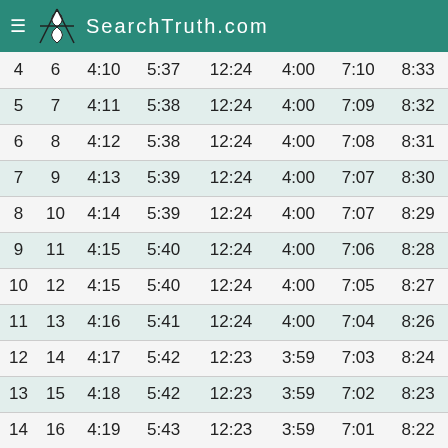SearchTruth.com
| 4 | 6 | 4:10 | 5:37 | 12:24 | 4:00 | 7:10 | 8:33 |
| 5 | 7 | 4:11 | 5:38 | 12:24 | 4:00 | 7:09 | 8:32 |
| 6 | 8 | 4:12 | 5:38 | 12:24 | 4:00 | 7:08 | 8:31 |
| 7 | 9 | 4:13 | 5:39 | 12:24 | 4:00 | 7:07 | 8:30 |
| 8 | 10 | 4:14 | 5:39 | 12:24 | 4:00 | 7:07 | 8:29 |
| 9 | 11 | 4:15 | 5:40 | 12:24 | 4:00 | 7:06 | 8:28 |
| 10 | 12 | 4:15 | 5:40 | 12:24 | 4:00 | 7:05 | 8:27 |
| 11 | 13 | 4:16 | 5:41 | 12:24 | 4:00 | 7:04 | 8:26 |
| 12 | 14 | 4:17 | 5:42 | 12:23 | 3:59 | 7:03 | 8:24 |
| 13 | 15 | 4:18 | 5:42 | 12:23 | 3:59 | 7:02 | 8:23 |
| 14 | 16 | 4:19 | 5:43 | 12:23 | 3:59 | 7:01 | 8:22 |